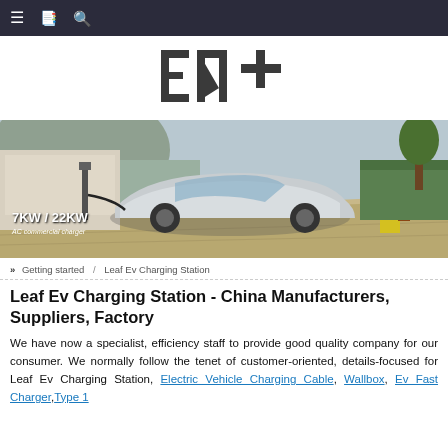Navigation bar with menu, bookmark, and search icons
[Figure (logo): EN+ logo in dark gray block letters]
[Figure (photo): Electric vehicle (silver Porsche-style EV) being charged in a driveway. Text overlay reads: 7KW / 22KW AC commercial charger]
» Getting started / Leaf Ev Charging Station
Leaf Ev Charging Station - China Manufacturers, Suppliers, Factory
We have now a specialist, efficiency staff to provide good quality company for our consumer. We normally follow the tenet of customer-oriented, details-focused for Leaf Ev Charging Station, Electric Vehicle Charging Cable, Wallbox, Ev Fast Charger,Type 1